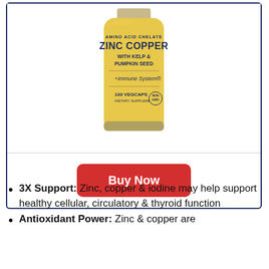[Figure (photo): Product bottle: Amino Acid Chelate Zinc Copper with Kelp & Pumpkin Seed, +Immune System, 100 VegCaps dietary supplement. Yellow/gold colored bottle.]
Buy Now
3X Support: Zinc, copper & iodine may help support healthy cellular, circulatory & thyroid function
Antioxidant Power: Zinc & copper are